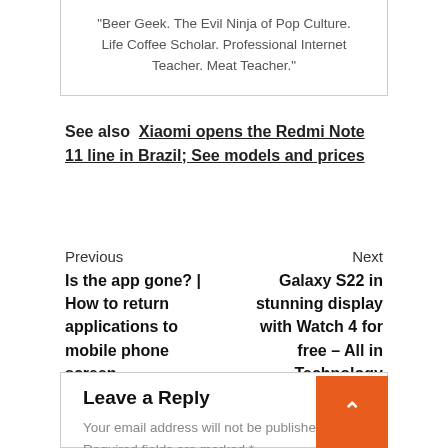"Beer Geek. The Evil Ninja of Pop Culture. Life Coffee Scholar. Professional Internet Teacher. Meat Teacher."
See also  Xiaomi opens the Redmi Note 11 line in Brazil; See models and prices
Previous
Is the app gone? | How to return applications to mobile phone screen
Next
Galaxy S22 in stunning display with Watch 4 for free – All in Technology
Leave a Reply
Your email address will not be published. Required fields are marked *
Comment *